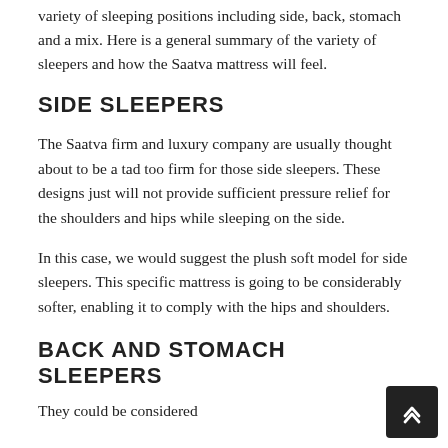variety of sleeping positions including side, back, stomach and a mix. Here is a general summary of the variety of sleepers and how the Saatva mattress will feel.
SIDE SLEEPERS
The Saatva firm and luxury company are usually thought about to be a tad too firm for those side sleepers. These designs just will not provide sufficient pressure relief for the shoulders and hips while sleeping on the side.
In this case, we would suggest the plush soft model for side sleepers. This specific mattress is going to be considerably softer, enabling it to comply with the hips and shoulders.
BACK AND STOMACH SLEEPERS
They could be considered...